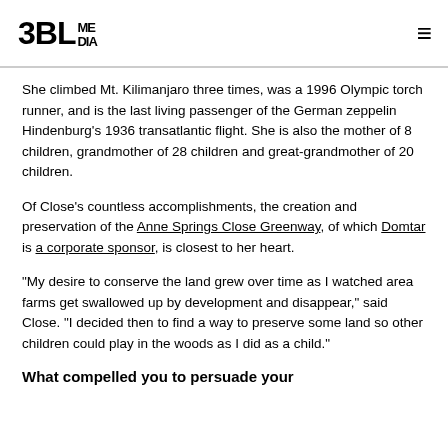3BL MEDIA
She climbed Mt. Kilimanjaro three times, was a 1996 Olympic torch runner, and is the last living passenger of the German zeppelin Hindenburg's 1936 transatlantic flight. She is also the mother of 8 children, grandmother of 28 children and great-grandmother of 20 children.
Of Close's countless accomplishments, the creation and preservation of the Anne Springs Close Greenway, of which Domtar is a corporate sponsor, is closest to her heart.
“My desire to conserve the land grew over time as I watched area farms get swallowed up by development and disappear,” said Close. “I decided then to find a way to preserve some land so other children could play in the woods as I did as a child.”
What compelled you to persuade your